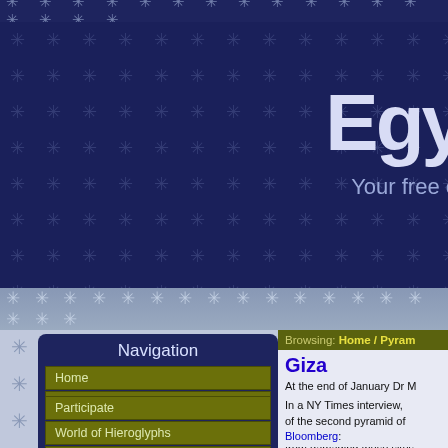Egy... Your free o...
Navigation
Home
Journal
Magazine
In Brief
Discussions
About
Participate
World of Hieroglyphs
Looting Database Archive
Browsing: Home / Pyram...
Giza
At the end of January Dr ... unsuccessful. The status ... damage to antiquities on t... camel and horse drivers; t... from damaging these sites...
In a NY Times interview, ... of the second pyramid of ... Bloomberg: